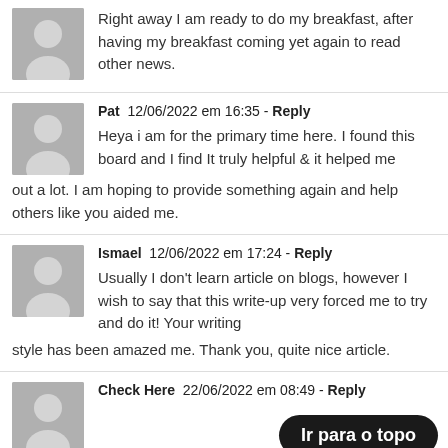Right away I am ready to do my breakfast, after having my breakfast coming yet again to read other news.
Pat  12/06/2022 em 16:35 - Reply
Heya i am for the primary time here. I found this board and I find It truly helpful & it helped me out a lot. I am hoping to provide something again and help others like you aided me.
Ismael  12/06/2022 em 17:24 - Reply
Usually I don't learn article on blogs, however I wish to say that this write-up very forced me to try and do it! Your writing style has been amazed me. Thank you, quite nice article.
Check Here  22/06/2022 em 08:49 - Reply